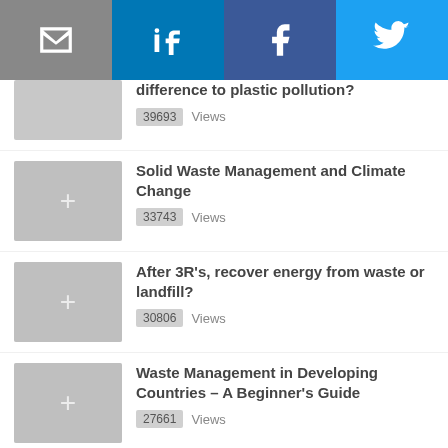[Figure (infographic): Social sharing bar with email, LinkedIn, Facebook, Twitter icons]
difference to plastic pollution? — 39693 Views
Solid Waste Management and Climate Change — 33743 Views
After 3R's, recover energy from waste or landfill? — 30806 Views
Waste Management in Developing Countries – A Beginner's Guide — 27661 Views
Luis Diaz — 24196 Views
Abby Barrows